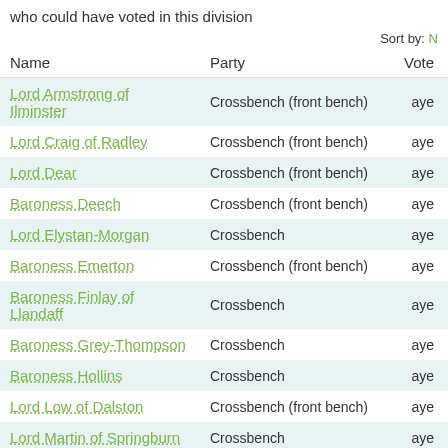who could have voted in this division
Sort by: N
| Name | Party | Vote |
| --- | --- | --- |
| Lord Armstrong of Ilminster | Crossbench (front bench) | aye |
| Lord Craig of Radley | Crossbench (front bench) | aye |
| Lord Dear | Crossbench (front bench) | aye |
| Baroness Deech | Crossbench (front bench) | aye |
| Lord Elystan-Morgan | Crossbench | aye |
| Baroness Emerton | Crossbench (front bench) | aye |
| Baroness Finlay of Llandaff | Crossbench | aye |
| Baroness Grey-Thompson | Crossbench | aye |
| Baroness Hollins | Crossbench | aye |
| Lord Low of Dalston | Crossbench (front bench) | aye |
| Lord Martin of Springburn | Crossbench | aye |
| Lord McCluskey | Crossbench | aye |
| Baroness Meacher | Crossbench | aye |
| Lord Patel of Bradford | Crossbench (front bench) | aye |
| Lord Robertson of Port Ellen | Crossbench | aye |